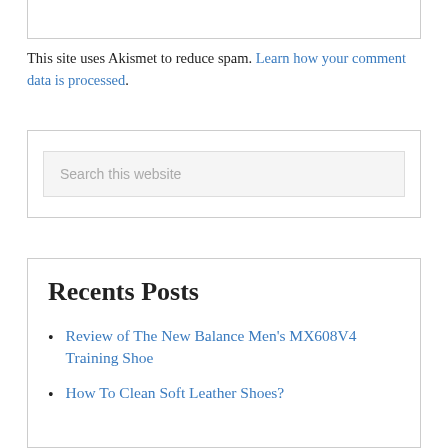This site uses Akismet to reduce spam. Learn how your comment data is processed.
[Figure (other): Search box widget with placeholder text 'Search this website']
Recents Posts
Review of The New Balance Men's MX608V4 Training Shoe
How To Clean Soft Leather Shoes?